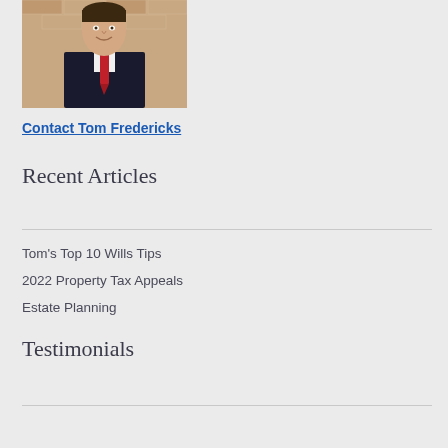[Figure (photo): Headshot of Tom Fredericks, a man in a dark suit with a red tie, smiling, against a brick background]
Contact Tom Fredericks
Recent Articles
Tom's Top 10 Wills Tips
2022 Property Tax Appeals
Estate Planning
Testimonials